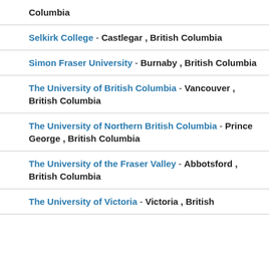Columbia
Selkirk College - Castlegar , British Columbia
Simon Fraser University - Burnaby , British Columbia
The University of British Columbia - Vancouver , British Columbia
The University of Northern British Columbia - Prince George , British Columbia
The University of the Fraser Valley - Abbotsford , British Columbia
The University of Victoria - Victoria , British